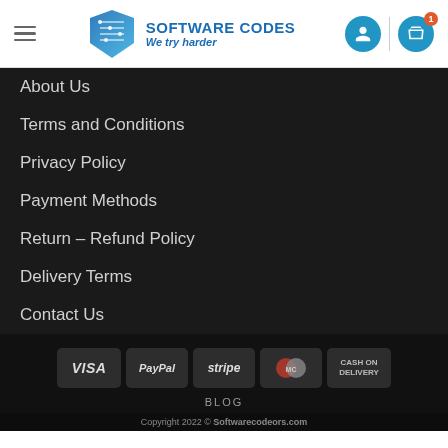SOFTWARE CODES — We try harder
About Us
Terms and Conditions
Privacy Policy
Payment Methods
Return – Refund Policy
Delivery Terms
Contact Us
[Figure (logo): Payment method logos: VISA, PayPal, stripe, MasterCard, CASH ON DELIVERY]
BLOG
Copyright 2022 © Softwarecodeors.com